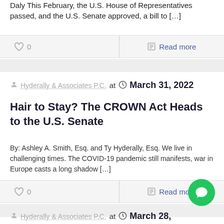Daly This February, the U.S. House of Representatives passed, and the U.S. Senate approved, a bill to [...]
0  Read more
Hyderally & Associates P.C.  at   March 31, 2022
Hair to Stay? The CROWN Act Heads to the U.S. Senate
By: Ashley A. Smith, Esq. and Ty Hyderally, Esq. We live in challenging times. The COVID-19 pandemic still manifests, war in Europe casts a long shadow [...]
0  Read more
Hyderally & Associates P.C.  at   March 28,